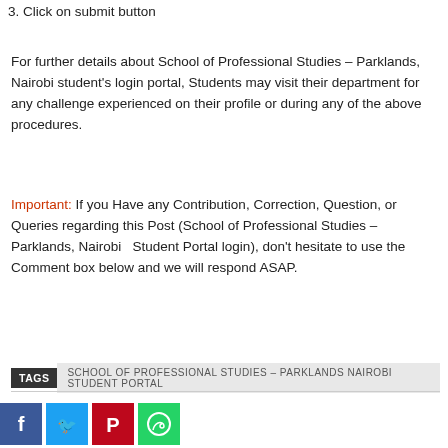3. Click on submit button
For further details about School of Professional Studies – Parklands, Nairobi student's login portal, Students may visit their department for any challenge experienced on their profile or during any of the above procedures.
Important: If you Have any Contribution, Correction, Question, or Queries regarding this Post (School of Professional Studies – Parklands, Nairobi   Student Portal login), don't hesitate to use the Comment box below and we will respond ASAP.
TAGS  SCHOOL OF PROFESSIONAL STUDIES – PARKLANDS NAIROBI STUDENT PORTAL
[Figure (other): Social sharing buttons: Facebook, Twitter, Pinterest, WhatsApp]